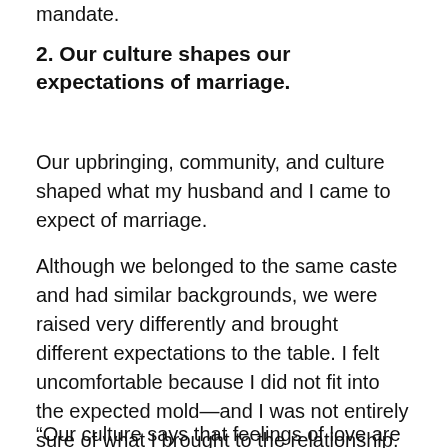mandate.
2. Our culture shapes our expectations of marriage.
Our upbringing, community, and culture shaped what my husband and I came to expect of marriage.
Although we belonged to the same caste and had similar backgrounds, we were raised very differently and brought different expectations to the table. I felt uncomfortable because I did not fit into the expected mold—and I was not entirely sure of what I brought to the relationship.
“Our culture says that feelings of love are